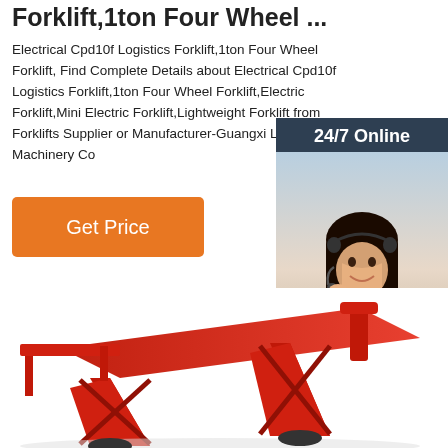Forklift,1ton Four Wheel ...
Electrical Cpd10f Logistics Forklift,1ton Four Wheel Forklift, Find Complete Details about Electrical Cpd10f Logistics Forklift,1ton Four Wheel Forklift,Electric Forklift,Mini Electric Forklift,Lightweight Forklift from Forklifts Supplier or Manufacturer-Guangxi Ligong Machinery Co
Get Price
[Figure (photo): Customer service representative with headset, 24/7 Online chat widget with orange QUOTATION button]
[Figure (photo): Red electric forklift / logistics machine viewed from the side, partially visible at bottom of page]